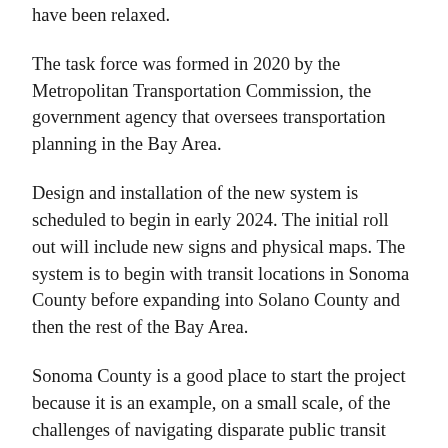have been relaxed.
The task force was formed in 2020 by the Metropolitan Transportation Commission, the government agency that oversees transportation planning in the Bay Area.
Design and installation of the new system is scheduled to begin in early 2024. The initial roll out will include new signs and physical maps. The system is to begin with transit locations in Sonoma County before expanding into Solano County and then the rest of the Bay Area.
Sonoma County is a good place to start the project because it is an example, on a small scale, of the challenges of navigating disparate public transit systems, commission spokesperson John Goodwin told The Press Democrat on Wednesday. Sonoma County has different bus systems in its various cities, in addition to the Sonoma County Transit system and the Sonoma Marin Area Regional Transit System passenger train.
Read more at